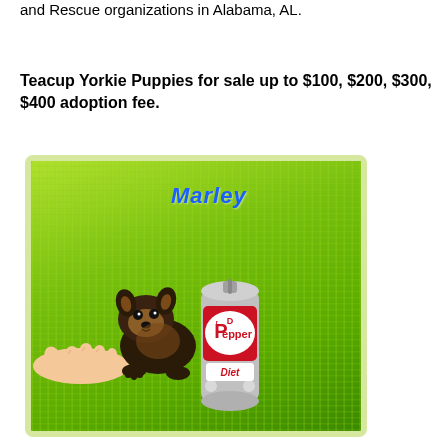and Rescue organizations in Alabama, AL.
Teacup Yorkie Puppies for sale up to $100, $200, $300, $400 adoption fee.
[Figure (photo): A tiny teacup Yorkie puppy sitting on bright green carpet next to a Diet Dr Pepper can for size comparison. The puppy's name 'Marley' is written in blue italic text in the upper portion of the image. A human hand is partially visible reaching toward the puppy from the left.]